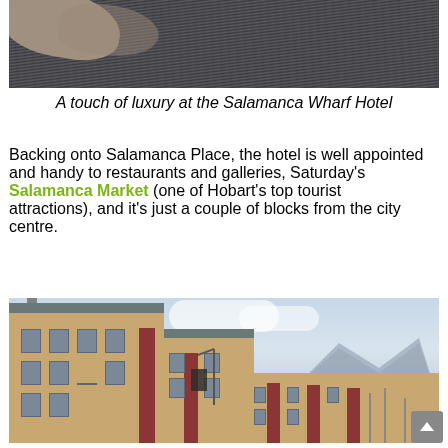[Figure (photo): Close-up photo of a striped/ridged dark surface with a stone or rock element, suggesting luxury hotel bedding or architectural detail at the Salamanca Wharf Hotel]
A touch of luxury at the Salamanca Wharf Hotel
Backing onto Salamanca Place, the hotel is well appointed and handy to restaurants and galleries, Saturday's Salamanca Market (one of Hobart's top tourist attractions), and it's just a couple of blocks from the city centre.
[Figure (photo): Exterior photo of a sandstone heritage building row with red accent panels, cloudy sky and mountains in background — Salamanca Place, Hobart]